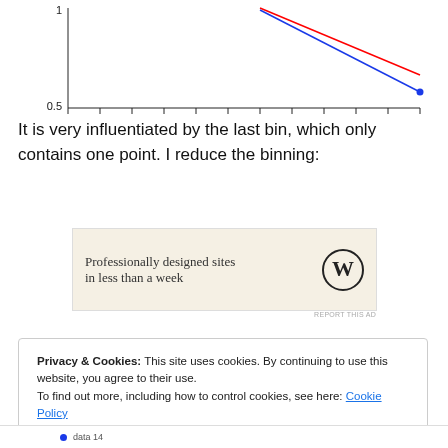[Figure (continuous-plot): Partial view of a line chart showing two lines (blue and red) descending from upper right to lower right. Y-axis shows value 1 at top and 0.5 at bottom. X-axis shows values from -2.2 to -0.2. Blue line ends at approximately -0.2 with a dot marker.]
It is very influentiated by the last bin, which only contains one point. I reduce the binning:
[Figure (other): WordPress advertisement: 'Professionally designed sites in less than a week' with WordPress logo]
REPORT THIS AD
Privacy & Cookies: This site uses cookies. By continuing to use this website, you agree to their use.
To find out more, including how to control cookies, see here: Cookie Policy
Close and accept
data 14